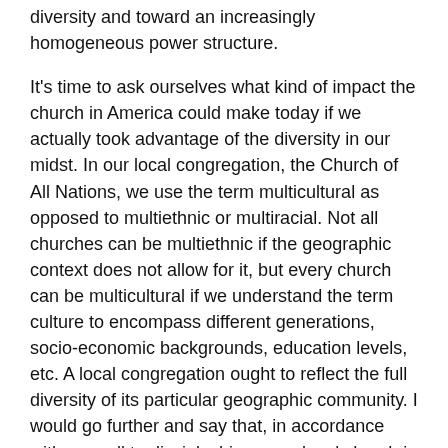away from the Pentecostal roots of unity in racial diversity and toward an increasingly homogeneous power structure.
It's time to ask ourselves what kind of impact the church in America could make today if we actually took advantage of the diversity in our midst. In our local congregation, the Church of All Nations, we use the term multicultural as opposed to multiethnic or multiracial. Not all churches can be multiethnic if the geographic context does not allow for it, but every church can be multicultural if we understand the term culture to encompass different generations, socio-economic backgrounds, education levels, etc. A local congregation ought to reflect the full diversity of its particular geographic community. I would go further and say that, in accordance with our call to discipleship, every local church in the world has a mandate to be as multicultural as possible.